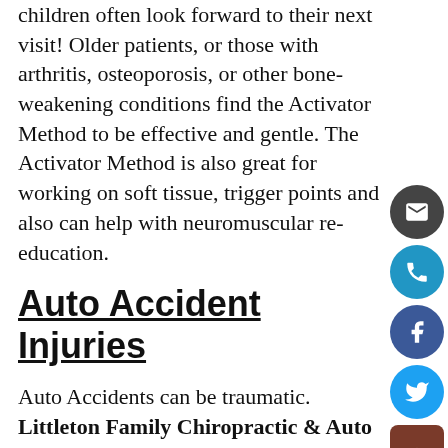children often look forward to their next visit! Older patients, or those with arthritis, osteoporosis, or other bone-weakening conditions find the Activator Method to be effective and gentle. The Activator Method is also great for working on soft tissue, trigger points and also can help with neuromuscular re-education.
Auto Accident Injuries
Auto Accidents can be traumatic. Littleton Family Chiropractic & Auto Injury Center is here to help you recover from your accident. With Chiropractic Care, Massage Therapy and Physical Rehab, we'll be able to help provide the pain relief you may have been experiencing after your accident, helping you return to